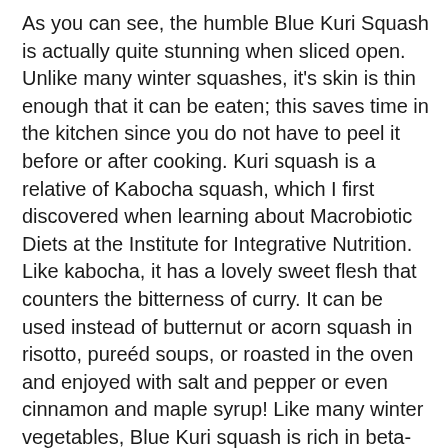As you can see, the humble Blue Kuri Squash is actually quite stunning when sliced open. Unlike many winter squashes, it's skin is thin enough that it can be eaten; this saves time in the kitchen since you do not have to peel it before or after cooking. Kuri squash is a relative of Kabocha squash, which I first discovered when learning about Macrobiotic Diets at the Institute for Integrative Nutrition. Like kabocha, it has a lovely sweet flesh that counters the bitterness of curry. It can be used instead of butternut or acorn squash in risotto, pureéd soups, or roasted in the oven and enjoyed with salt and pepper or even cinnamon and maple syrup! Like many winter vegetables, Blue Kuri squash is rich in beta-carotene – a perfect winter food for strong vision in the dark months. After spending some time on Google and assessing what I had in my kitchen, I created the following recipe. It is adapted from one here (the Split Pea). The sweet squash counters the bitter curry well and the salmon plays a mild